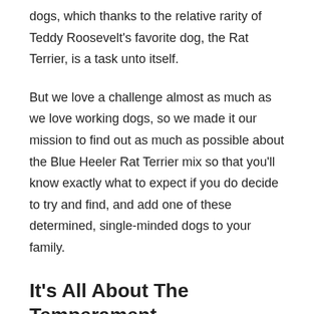dogs, which thanks to the relative rarity of Teddy Roosevelt's favorite dog, the Rat Terrier, is a task unto itself.
But we love a challenge almost as much as we love working dogs, so we made it our mission to find out as much as possible about the Blue Heeler Rat Terrier mix so that you'll know exactly what to expect if you do decide to try and find, and add one of these determined, single-minded dogs to your family.
It's All About The Temperament
They're a best of both worlds dog, as the Heeler Terrier mix tends to inherit the loveable, playful nature of the Heeler and the absolutely incredible loyalty of the Rat...